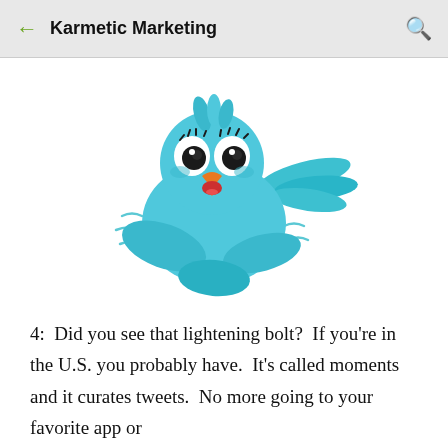← Karmetic Marketing 🔍
[Figure (illustration): Cartoon blue bird flying with wings spread, mouth open, looking upward, with motion lines indicating fast movement. Cute animated style reminiscent of Twitter bird.]
4:  Did you see that lightening bolt?  If you're in the U.S. you probably have.  It's called moments and it curates tweets.  No more going to your favorite app or